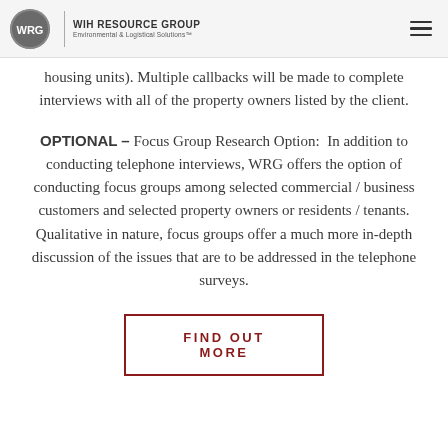WIH RESOURCE GROUP Environmental & Logistical Solutions™
housing units). Multiple callbacks will be made to complete interviews with all of the property owners listed by the client.
OPTIONAL – Focus Group Research Option:  In addition to conducting telephone interviews, WRG offers the option of conducting focus groups among selected commercial / business customers and selected property owners or residents / tenants. Qualitative in nature, focus groups offer a much more in-depth discussion of the issues that are to be addressed in the telephone surveys.
FIND OUT MORE